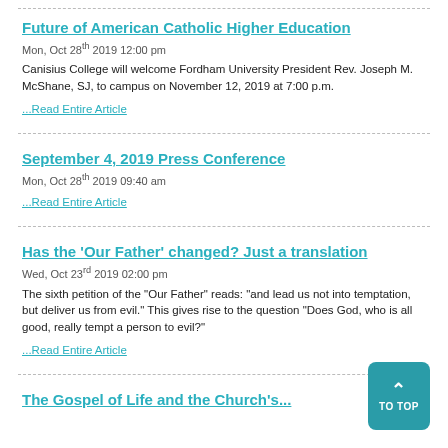Future of American Catholic Higher Education
Mon, Oct 28th 2019 12:00 pm
Canisius College will welcome Fordham University President Rev. Joseph M. McShane, SJ, to campus on November 12, 2019 at 7:00 p.m.
...Read Entire Article
September 4, 2019 Press Conference
Mon, Oct 28th 2019 09:40 am
...Read Entire Article
Has the 'Our Father' changed? Just a translation
Wed, Oct 23rd 2019 02:00 pm
The sixth petition of the "Our Father" reads: "and lead us not into temptation, but deliver us from evil." This gives rise to the question "Does God, who is all good, really tempt a person to evil?"
...Read Entire Article
The Gospel of Life and the Church's...